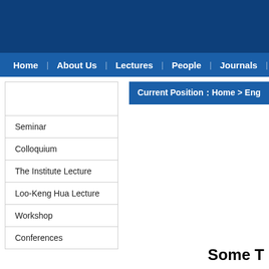Home | About Us | Lectures | People | Journals | Join
Current Position：Home > Eng
Seminar
Colloquium
The Institute Lecture
Loo-Keng Hua Lecture
Workshop
Conferences
Some T